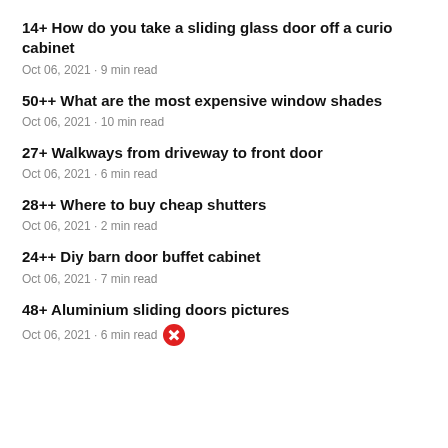14+ How do you take a sliding glass door off a curio cabinet
Oct 06, 2021 · 9 min read
50++ What are the most expensive window shades
Oct 06, 2021 · 10 min read
27+ Walkways from driveway to front door
Oct 06, 2021 · 6 min read
28++ Where to buy cheap shutters
Oct 06, 2021 · 2 min read
24++ Diy barn door buffet cabinet
Oct 06, 2021 · 7 min read
48+ Aluminium sliding doors pictures
Oct 06, 2021 · 6 min read